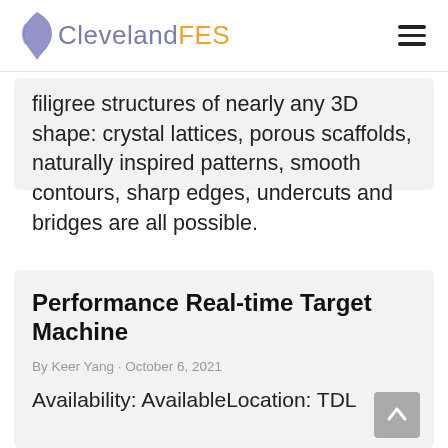ClevelandFES
filigree structures of nearly any 3D shape: crystal lattices, porous scaffolds, naturally inspired patterns, smooth contours, sharp edges, undercuts and bridges are all possible.
Performance Real-time Target Machine
By Keer Yang · October 6, 2021
Availability: AvailableLocation: TDL